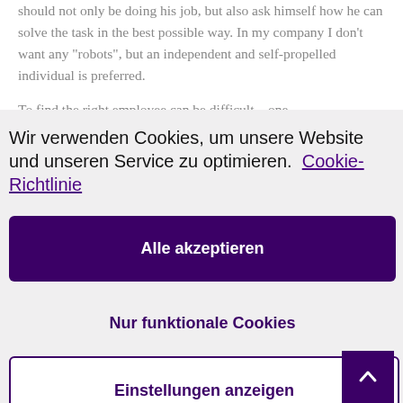should not only be doing his job, but also ask himself how he can solve the task in the best possible way. In my company I don’t want any “robots”, but an independent and self-propelled individual is preferred.
To find the right employee can be difficult – one
Wir verwenden Cookies, um unsere Website und unseren Service zu optimieren.  Cookie-Richtlinie
Alle akzeptieren
Nur funktionale Cookies
Einstellungen anzeigen
we can see potential and that they fit in as a